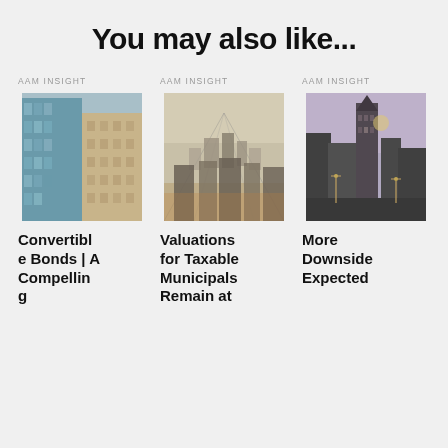You may also like...
AAM INSIGHT
[Figure (photo): Close-up aerial/side view of glass and stone office skyscrapers]
Convertible Bonds | A Compelling
AAM INSIGHT
[Figure (photo): Aerial top-down view of a dense city at dusk with glowing street lights]
Valuations for Taxable Municipals Remain at
AAM INSIGHT
[Figure (photo): Street-level view of city skyline at dusk with tall buildings and street lights]
More Downside Expected